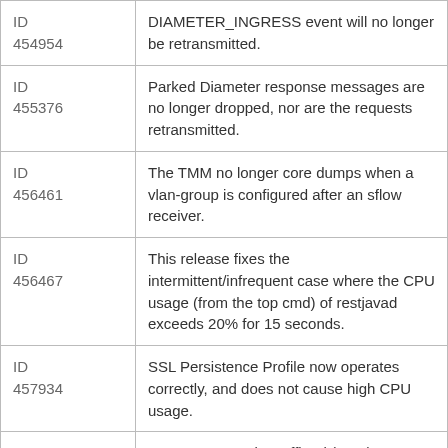| ID | Description |
| --- | --- |
| ID 454954 | DIAMETER_INGRESS event will no longer be retransmitted. |
| ID 455376 | Parked Diameter response messages are no longer dropped, nor are the requests retransmitted. |
| ID 456461 | The TMM no longer core dumps when a vlan-group is configured after an sflow receiver. |
| ID 456467 | This release fixes the intermittent/infrequent case where the CPU usage (from the top cmd) of restjavad exceeds 20% for 15 seconds. |
| ID 457934 | SSL Persistence Profile now operates correctly, and does not cause high CPU usage. |
| ID 458480 | TCP Segmentation Offload (TSO) no longer causes the Traffic Management Microkernel (TMM) to restart during high memory usage. |
| ID 458957 | TMM no longer leaks memory on repeated plugin client initialization messages. |
| ID 459896 | Setting Allow All to Allow Default now works without err... |